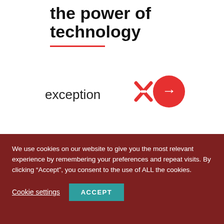the power of technology
[Figure (logo): exception X logo with red X mark and circular red arrow button]
We use cookies on our website to give you the most relevant experience by remembering your preferences and repeat visits. By clicking “Accept”, you consent to the use of ALL the cookies.
Cookie settings  ACCEPT